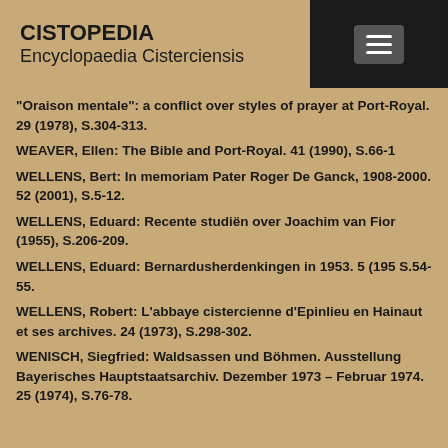CISTOPEDIA Encyclopaedia Cisterciensis
"Oraison mentale": a conflict over styles of prayer at Port-Royal. 29 (1978), S.304-313.
WEAVER, Ellen: The Bible and Port-Royal. 41 (1990), S.66-1
WELLENS, Bert: In memoriam Pater Roger De Ganck, 1908-2000. 52 (2001), S.5-12.
WELLENS, Eduard: Recente studiën over Joachim van Fior (1955), S.206-209.
WELLENS, Eduard: Bernardusherdenkingen in 1953. 5 (195 S.54-55.
WELLENS, Robert: L'abbaye cistercienne d'Epinlieu en Hainaut et ses archives. 24 (1973), S.298-302.
WENISCH, Siegfried: Waldsassen und Böhmen. Ausstellung Bayerisches Hauptstaatsarchiv. Dezember 1973 – Februar 1974. 25 (1974), S.76-78.